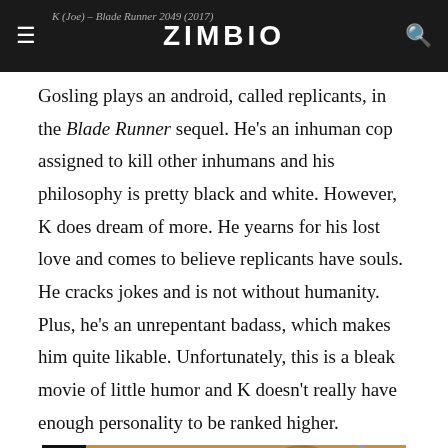ZIMBIO | K (Joe) – Blade Runner 2049 (2017)
Gosling plays an android, called replicants, in the Blade Runner sequel. He's an inhuman cop assigned to kill other inhumans and his philosophy is pretty black and white. However, K does dream of more. He yearns for his lost love and comes to believe replicants have souls. He cracks jokes and is not without humanity. Plus, he's an unrepentant badass, which makes him quite likable. Unfortunately, this is a bleak movie of little humor and K doesn't really have enough personality to be ranked higher.
[Figure (photo): A still from Blade Runner 2049 showing a man's face in warm orange/amber tones, with a mirrored 'DO NOT ENTER / UNAUTHORIZED AREA' sign visible in the lower left, dark area on the left side.]